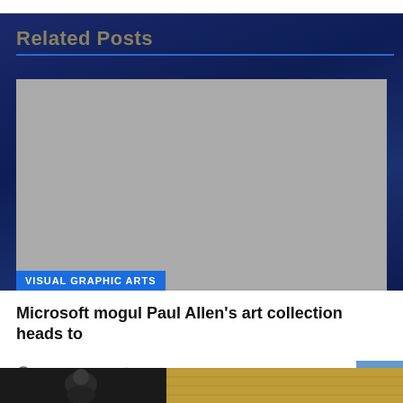Related Posts
[Figure (photo): Gray placeholder image with 'VISUAL GRAPHIC ARTS' category badge in blue at bottom left]
Microsoft mogul Paul Allen’s art collection heads to
17 hours ago   AKDSEO
[Figure (photo): Bottom strip showing two photos: a person with dark hair on left, and a wooden/orange textured surface on right]